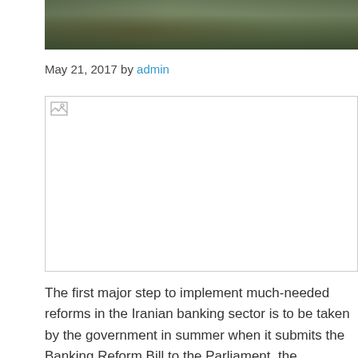[Figure (photo): Partial top portion of a photo showing palm trees and outdoor greenery/landscape]
May 21, 2017 by admin
[Figure (photo): Broken/unloaded image placeholder with small broken image icon]
The first major step to implement much-needed reforms in the Iranian banking sector is to be taken by the government in summer when it submits the Banking Reform Bill to the Parliament, the